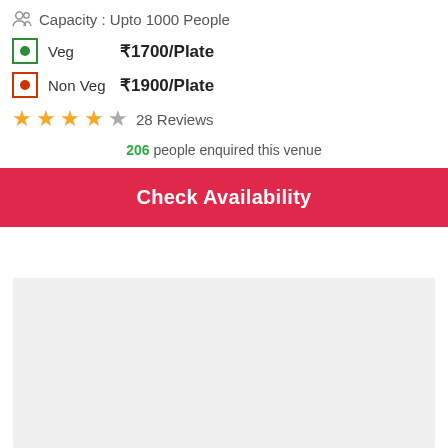Capacity : Upto 1000 People
Veg ₹1700/Plate
Non Veg ₹1900/Plate
★★★★☆ 28 Reviews
206 people enquired this venue
Check Availability
[Figure (other): Light grey empty panel area at bottom of page]